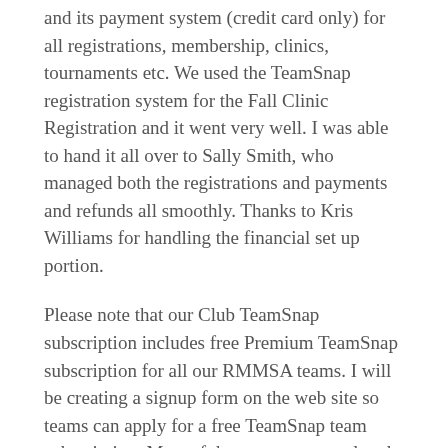and its payment system (credit card only) for all registrations, membership, clinics, tournaments etc. We used the TeamSnap registration system for the Fall Clinic Registration and it went very well. I was able to hand it all over to Sally Smith, who managed both the registrations and payments and refunds all smoothly. Thanks to Kris Williams for handling the financial set up portion.
Please note that our Club TeamSnap subscription includes free Premium TeamSnap subscription for all our RMMSA teams. I will be creating a signup form on the web site so teams can apply for a free TeamSnap team subscription. Most of the rep teams are already on-board.
We have implemented the Financial and Invoicing modules with the registrations. This will allow us to collect funds for any events we have and to collect fees from members as needed.